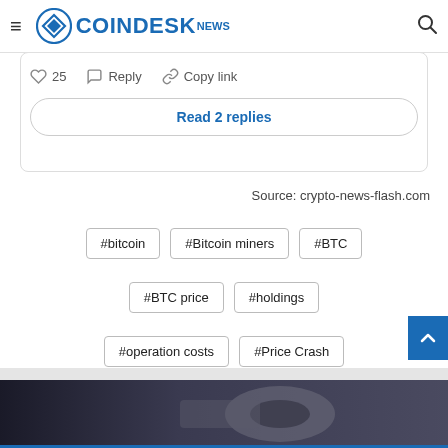CoinDesk News
♡ 25   Reply   Copy link
Read 2 replies
Source: crypto-news-flash.com
#bitcoin
#Bitcoin miners
#BTC
#BTC price
#holdings
#operation costs
#Price Crash
[Figure (photo): Partial view of a dark background image at the bottom of the page]